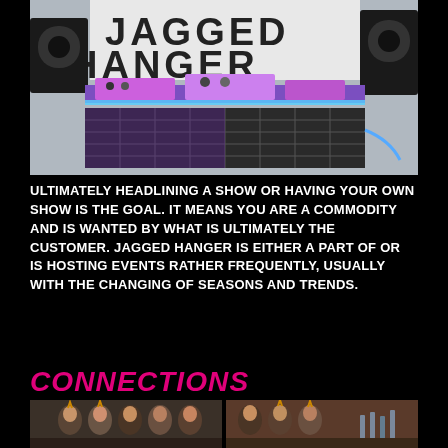[Figure (photo): DJ equipment setup on a stage with large speakers and a banner in the background reading JAGGED HANGER]
ULTIMATELY HEADLINING A SHOW OR HAVING YOUR OWN SHOW IS THE GOAL. IT MEANS YOU ARE A COMMODITY AND IS WANTED BY WHAT IS ULTIMATELY THE CUSTOMER. jAGGED HANGER IS EITHER A PART OF OR IS HOSTING EVENTS RATHER FREQUENTLY, USUALLY WITH THE CHANGING OF SEASONS AND TRENDS.
CONNECTIONS
[Figure (photo): Group of people posing at an event or bar setting]